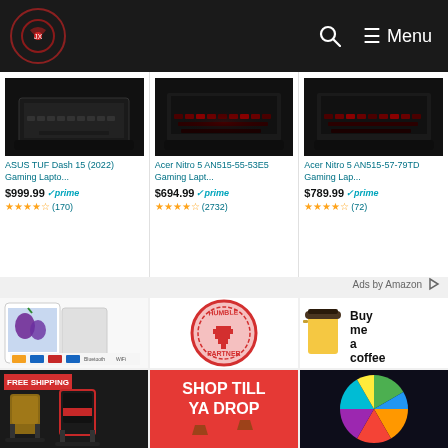Navigation header with logo, search icon, and Menu
[Figure (screenshot): ASUS TUF Dash 15 (2022) gaming laptop keyboard view]
ASUS TUF Dash 15 (2022) Gaming Lapto...
$999.99 prime (170) 3.5 stars
[Figure (screenshot): Acer Nitro 5 AN515-55-53E5 gaming laptop with red backlit keyboard]
Acer Nitro 5 AN515-55-53E5 Gaming Lapt...
$694.99 prime (2732) 4.5 stars
[Figure (screenshot): Acer Nitro 5 AN515-57-79TD gaming laptop with red backlit keyboard]
Acer Nitro 5 AN515-57-79TD Gaming Lap...
$789.99 prime (72) 4 stars
Ads by Amazon
[Figure (photo): Tablet device]
[Figure (logo): Humble Partner badge - circular red stamp logo with pixel heart]
[Figure (illustration): Buy me a coffee logo with coffee cup illustration]
[Figure (photo): Gaming chairs with FREE SHIPPING label]
[Figure (illustration): SHOP TILL YA DROP text on red background]
[Figure (pie-chart): Colorful pie chart on dark background]